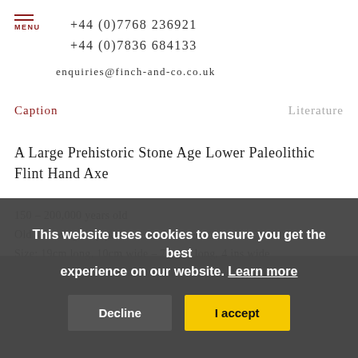MENU
+44 (0)7768 236921
+44 (0)7836 684133
enquiries@finch-and-co.co.uk
Caption	Literature
A Large Prehistoric Stone Age Lower Paleolithic Flint Hand Axe
150 – 200,000 years old
Old smooth glassy patina
Size: 19cm long, 10cm wide – 7½ ins long, 4 ins wide
This website uses cookies to ensure you get the best experience on our website. Learn more
Decline	I accept